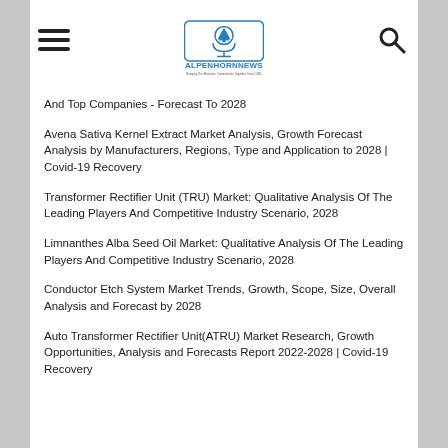AlpenHornNews - Bringing Our Mountain Communities Together Since 1985
And Top Companies - Forecast To 2028
Avena Sativa Kernel Extract Market Analysis, Growth Forecast Analysis by Manufacturers, Regions, Type and Application to 2028 | Covid-19 Recovery
Transformer Rectifier Unit (TRU) Market: Qualitative Analysis Of The Leading Players And Competitive Industry Scenario, 2028
Limnanthes Alba Seed Oil Market: Qualitative Analysis Of The Leading Players And Competitive Industry Scenario, 2028
Conductor Etch System Market Trends, Growth, Scope, Size, Overall Analysis and Forecast by 2028
Auto Transformer Rectifier Unit(ATRU) Market Research, Growth Opportunities, Analysis and Forecasts Report 2022-2028 | Covid-19 Recovery